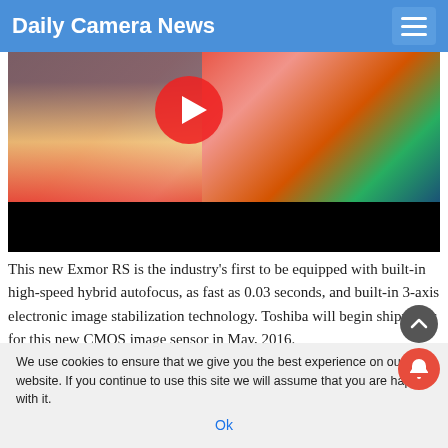Daily Camera News
[Figure (screenshot): Video thumbnail showing colorful flowers (carnations) with a red YouTube play button overlay, and a black progress bar at the bottom]
This new Exmor RS is the industry's first to be equipped with built-in high-speed hybrid autofocus, as fast as 0.03 seconds, and built-in 3-axis electronic image stabilization technology. Toshiba will begin shipments for this new CMOS image sensor in May, 2016.
We use cookies to ensure that we give you the best experience on our website. If you continue to use this site we will assume that you are happy with it. Ok